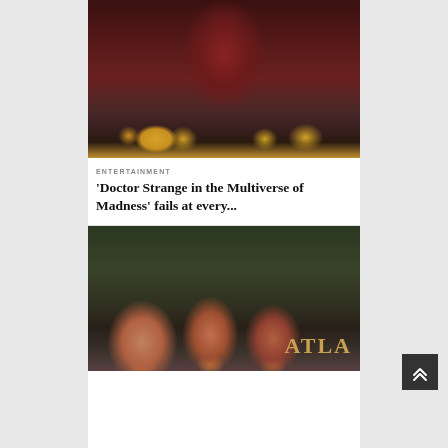[Figure (photo): Wanda Maximoff (Scarlet Witch) sitting cross-legged in meditation pose surrounded by candles in a dark mystic setting from Doctor Strange in the Multiverse of Madness]
ENTERTAINMENT
'Doctor Strange in the Multiverse of Madness' fails at every...
[Figure (photo): Three men holding peaches in their mouths with partial ATLA text visible in the background, from the TV show Atlanta]
[Figure (other): Back to top button with chevron arrows]